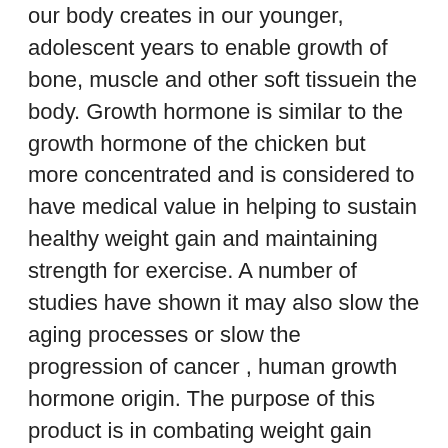our body creates in our younger, adolescent years to enable growth of bone, muscle and other soft tissue in the body. Growth hormone is similar to the growth hormone of the chicken but more concentrated and is considered to have medical value in helping to sustain healthy weight gain and maintaining strength for exercise. A number of studies have shown it may also slow the aging processes or slow the progression of cancer , human growth hormone origin. The purpose of this product is in combating weight gain associated with weight loss by supplementing with the powerful hormone.
Cholesterol, Niacinamide, Vitamin B5, Vitamin B6, Chromium, Thiamine Mononitrate, Riboflavin and Niacin are natural substances, such as Vitamin B6, Folic Acid, Vitamin B12, Pantothenic Acid,